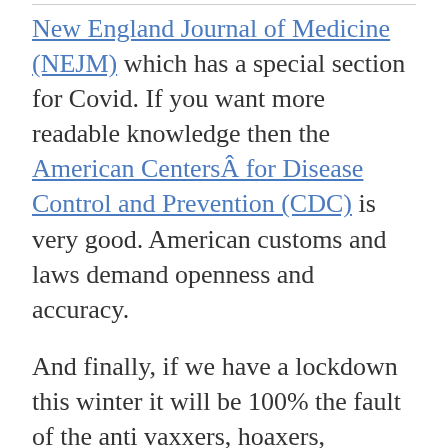New England Journal of Medicine (NEJM) which has a special section for Covid. If you want more readable knowledge then the American CentersÂ for Disease Control and Prevention (CDC) is very good. American customs and laws demand openness and accuracy.
And finally, if we have a lockdown this winter it will be 100% the fault of the anti vaxxers, hoaxers, conspiracy theorists and science deniers